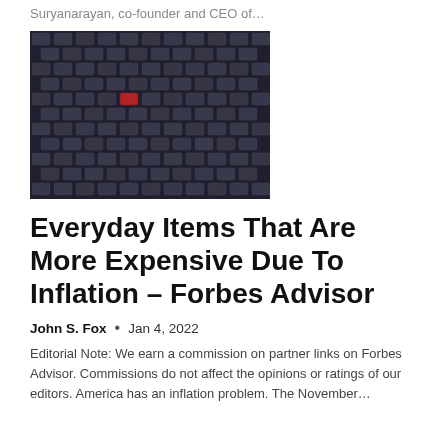Suryanarayan, co-founder and CEO of…
[Figure (photo): Aerial view of a large parking lot filled with hundreds of dark cars arranged in diagonal rows, with one red car visible near the center.]
Everyday Items That Are More Expensive Due To Inflation – Forbes Advisor
John S. Fox  •  Jan 4, 2022
Editorial Note: We earn a commission on partner links on Forbes Advisor. Commissions do not affect the opinions or ratings of our editors. America has an inflation problem. The November…